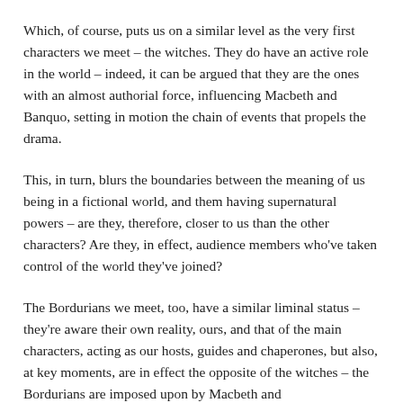Which, of course, puts us on a similar level as the very first characters we meet – the witches. They do have an active role in the world – indeed, it can be argued that they are the ones with an almost authorial force, influencing Macbeth and Banquo, setting in motion the chain of events that propels the drama.
This, in turn, blurs the boundaries between the meaning of us being in a fictional world, and them having supernatural powers – are they, therefore, closer to us than the other characters? Are they, in effect, audience members who've taken control of the world they've joined?
The Bordurians we meet, too, have a similar liminal status – they're aware their own reality, ours, and that of the main characters, acting as our hosts, guides and chaperones, but also, at key moments, are in effect the opposite of the witches – the Bordurians are imposed upon by Macbeth and